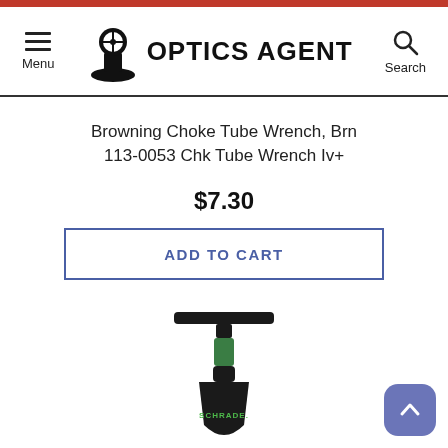OPTICS AGENT — Menu | Search navigation header
Browning Choke Tube Wrench, Brn 113-0053 Chk Tube Wrench Iv+
$7.30
ADD TO CART
[Figure (photo): A compact folding shovel/spade with a black T-handle grip, green accent wrapping on the handle shaft, and a black spade head. The brand name SCHRADE is visible in green lettering on the blade.]